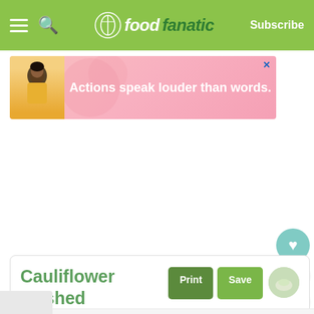foodfanatic — Subscribe
[Figure (screenshot): Advertisement banner with text 'Actions speak louder than words.' on a pink gradient background with an illustrated figure]
1
Cauliflower Mashed Potatoes Recipe
Print  Save